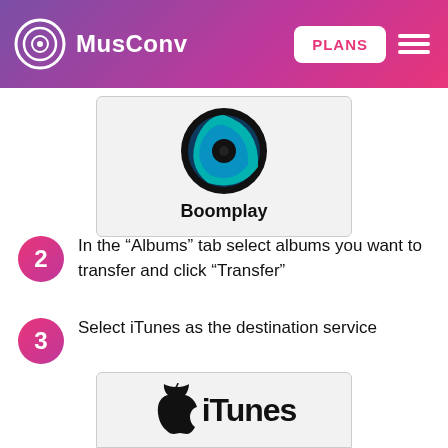MusConv | PLANS
[Figure (logo): Boomplay logo card with teal/blue swirl icon and bold 'Boomplay' text below]
2  In the “Albums” tab select albums you want to transfer and click “Transfer”
3  Select iTunes as the destination service
[Figure (logo): iTunes logo card showing Apple logo icon and 'iTunes' text]